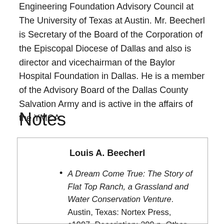Engineering Foundation Advisory Council at The University of Texas at Austin. Mr. Beecherl is Secretary of the Board of the Corporation of the Episcopal Diocese of Dallas and also is director and vicechairman of the Baylor Hospital Foundation in Dallas. He is a member of the Advisory Board of the Dallas County Salvation Army and is active in the affairs of the YMCA.
Notes
Louis A. Beecherl
A Dream Come True: The Story of Flat Top Ranch, a Grassland and Water Conservation Venture. Austin, Texas: Nortex Press, c1997. Description: 209 p. Other author: Bryan Sowell. Contributing